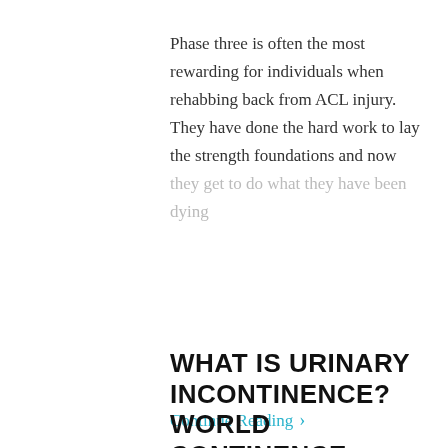Phase three is often the most rewarding for individuals when rehabbing back from ACL injury. They have done the hard work to lay the strength foundations and now they get to do what they have been dying
Continue Reading >
WHAT IS URINARY INCONTINENCE? WORLD CONTINENCE